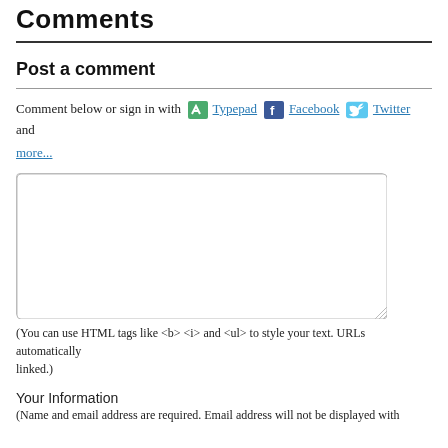Comments
Post a comment
Comment below or sign in with Typepad Facebook Twitter and more...
[Figure (other): Comment text area input box]
(You can use HTML tags like <b> <i> and <ul> to style your text. URLs automatically linked.)
Your Information
(Name and email address are required. Email address will not be displayed with